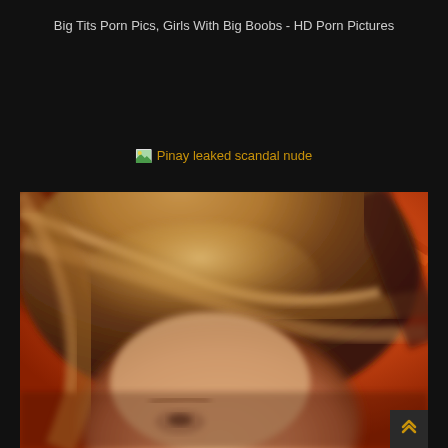Big Tits Porn Pics, Girls With Big Boobs - HD Porn Pictures
Pinay leaked scandal nude
[Figure (photo): Close-up photo of a blonde woman's face and hair against an orange background. The image is slightly blurred/out of focus showing hair, forehead, eyebrow, and partially closed eyes.]